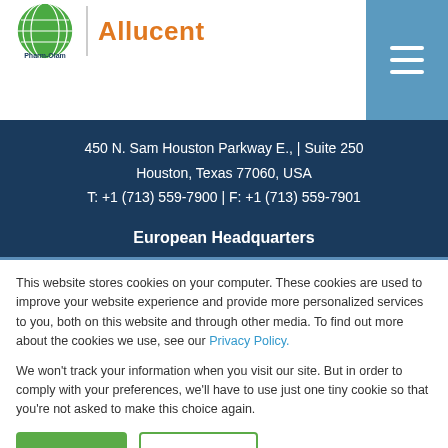[Figure (logo): Pharm-Olam and Allucent combined logo with globe icon and divider]
450 N. Sam Houston Parkway E., | Suite 250
Houston, Texas 77060, USA
T: +1 (713) 559-7900 | F: +1 (713) 559-7901
European Headquarters
This website stores cookies on your computer. These cookies are used to improve your website experience and provide more personalized services to you, both on this website and through other media. To find out more about the cookies we use, see our Privacy Policy.
We won't track your information when you visit our site. But in order to comply with your preferences, we'll have to use just one tiny cookie so that you're not asked to make this choice again.
Accept | Decline